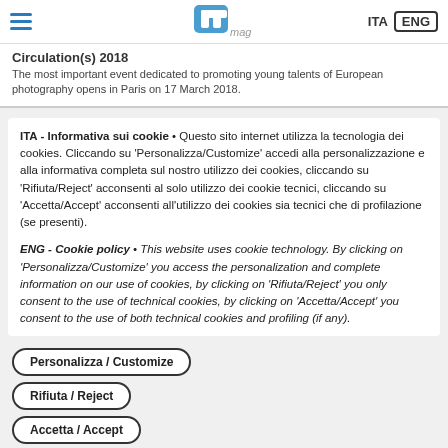pf mag | ITA | ENG
Circulation(s) 2018
The most important event dedicated to promoting young talents of European photography opens in Paris on 17 March 2018.
ITA - Informativa sui cookie • Questo sito internet utilizza la tecnologia dei cookies. Cliccando su 'Personalizza/Customize' accedi alla personalizzazione e alla informativa completa sul nostro utilizzo dei cookies, cliccando su 'Rifiuta/Reject' acconsenti al solo utilizzo dei cookie tecnici, cliccando su 'Accetta/Accept' acconsenti all'utilizzo dei cookies sia tecnici che di profilazione (se presenti).
ENG - Cookie policy • This website uses cookie technology. By clicking on 'Personalizza/Customize' you access the personalization and complete information on our use of cookies, by clicking on 'Rifiuta/Reject' you only consent to the use of technical cookies, by clicking on 'Accetta/Accept' you consent to the use of both technical cookies and profiling (if any).
Personalizza / Customize
Rifiuta / Reject
Accetta / Accept